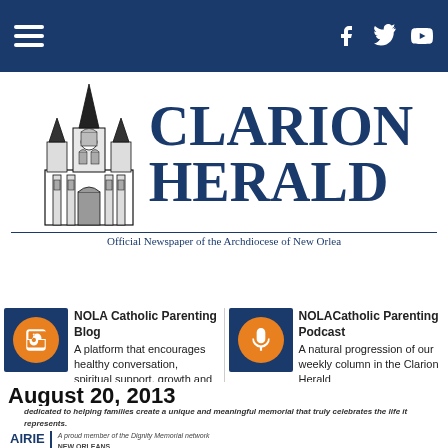Navigation bar with hamburger menu and social icons (Facebook, Twitter, YouTube)
[Figure (logo): Clarion Herald logo with cathedral illustration and text 'CLARION HERALD - Official Newspaper of the Archdiocese of New Orleans']
[Figure (illustration): NOLA Catholic Parenting Blog icon - orange circle with blogger icon on dark blue square background]
NOLA Catholic Parenting Blog
A platform that encourages healthy conversation, spiritual support, growth and fellowship
[Figure (illustration): NOLACatholic Parenting Podcast icon - orange circle with microphone icon on dark blue square background]
NOLACatholic Parenting Podcast
A natural progression of our weekly column in the Clarion Herald
August 20, 2013
dedicated to helping families create a unique and meaningful memorial that truly celebrates the life it represents.
A proud member of the Dignity Memorial network
NEW ORLEANS
504-486-6331  LakeLawnMetairie.com